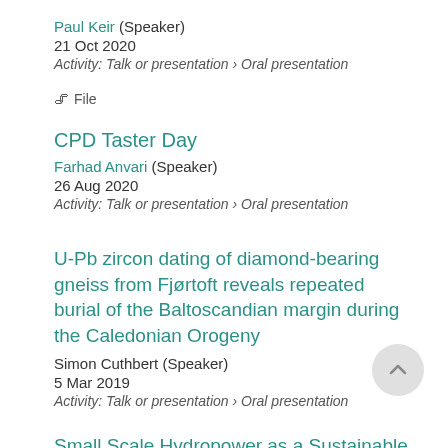Paul Keir (Speaker)
21 Oct 2020
Activity: Talk or presentation › Oral presentation
🖇 File
CPD Taster Day
Farhad Anvari (Speaker)
26 Aug 2020
Activity: Talk or presentation › Oral presentation
U-Pb zircon dating of diamond-bearing gneiss from Fjørtoft reveals repeated burial of the Baltoscandian margin during the Caledonian Orogeny
Simon Cuthbert (Speaker)
5 Mar 2019
Activity: Talk or presentation › Oral presentation
Small Scale Hydropower as a Sustainable Source of